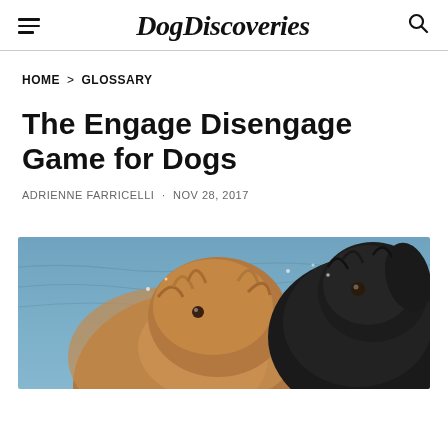DogDiscoveries
HOME > GLOSSARY
The Engage Disengage Game for Dogs
ADRIENNE FARRICELLI · NOV 28, 2017
[Figure (photo): Two dogs outdoors near water — a golden/brown fluffy dog and a black dog, appearing wet, photographed from above at close range with a blurred blue water background]